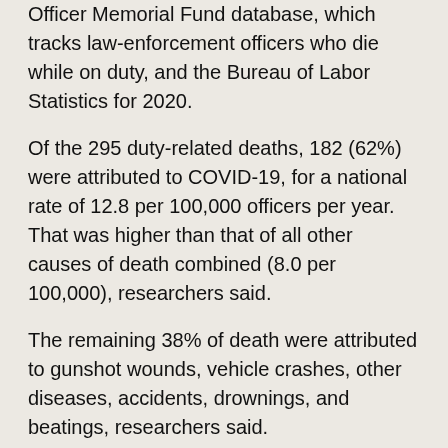Officer Memorial Fund database, which tracks law-enforcement officers who die while on duty, and the Bureau of Labor Statistics for 2020.
Of the 295 duty-related deaths, 182 (62%) were attributed to COVID-19, for a national rate of 12.8 per 100,000 officers per year. That was higher than that of all other causes of death combined (8.0 per 100,000), researchers said.
The remaining 38% of death were attributed to gunshot wounds, vehicle crashes, other diseases, accidents, drownings, and beatings, researchers said.
The study authors noted that police officers and other first responders can't avoid close contact with the public. In 2020, police worked amid reduced staffing, and a limited supply of personal protective equipment.